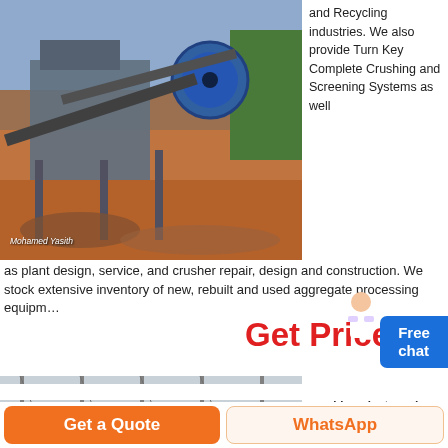[Figure (photo): Outdoor stone crushing plant with conveyor belts, machinery, and red soil ground. Watermark: Mohamed Yasith]
and Recycling industries. We also provide Turn Key Complete Crushing and Screening Systems as well as plant design, service, and crusher repair, design and construction. We stock extensive inventory of new, rebuilt and used aggregate processing equipment
Get Price
[Figure (photo): Indoor industrial facility with steel frame structure and Indian flag on pole]
operating cost stone crushing plant used mobile quarry mobile crusher plant. 2014 7 11 Grinding Mill
Get a Quote  WhatsApp